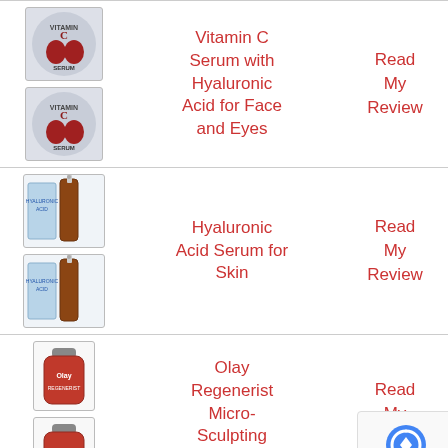| Product Image | Product Name | Link |
| --- | --- | --- |
| [image] | Vitamin C Serum with Hyaluronic Acid for Face and Eyes | Read My Review |
| [image] | Hyaluronic Acid Serum for Skin | Read My Review |
| [image] | Olay Regenerist Micro-Sculpting Serum | Read My Review |